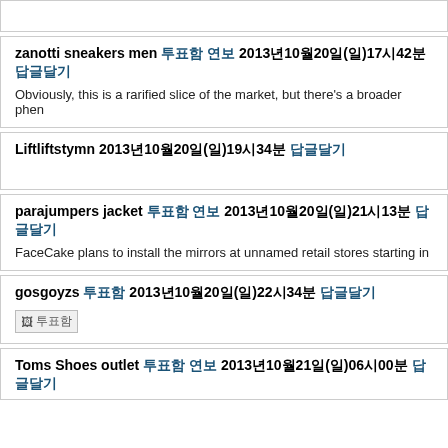(partial card top)
zanotti sneakers men 투표함 연보 2013년10월20일(일)17시42분 답글달기
Obviously, this is a rarified slice of the market, but there's a broader phen
Liftliftstymn 2013년10월20일(일)19시34분 답글달기
parajumpers jacket 투표함 연보 2013년10월20일(일)21시13분 답글달기
FaceCake plans to install the mirrors at unnamed retail stores starting in
gosgoyzs 투표함 2013년10월20일(일)22시34분 답글달기
[Figure (other): Small broken image placeholder with Korean text label]
Toms Shoes outlet 투표함 연보 2013년10월21일(일)06시00분 답글달기